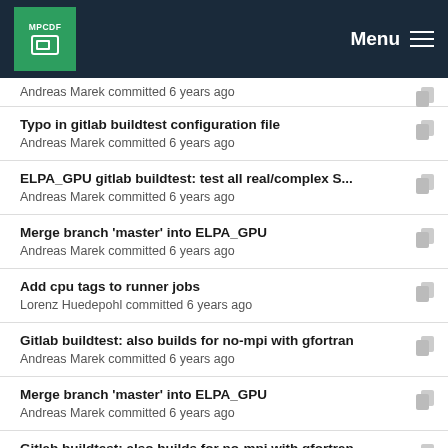MPCDF Menu
Andreas Marek committed 6 years ago
Typo in gitlab buildtest configuration file
Andreas Marek committed 6 years ago
ELPA_GPU gitlab buildtest: test all real/complex S...
Andreas Marek committed 6 years ago
Merge branch 'master' into ELPA_GPU
Andreas Marek committed 6 years ago
Add cpu tags to runner jobs
Lorenz Huedepohl committed 6 years ago
Gitlab buildtest: also builds for no-mpi with gfortran
Andreas Marek committed 6 years ago
Merge branch 'master' into ELPA_GPU
Andreas Marek committed 6 years ago
Gitlab buildtest: also builds for no-mpi with gfortran